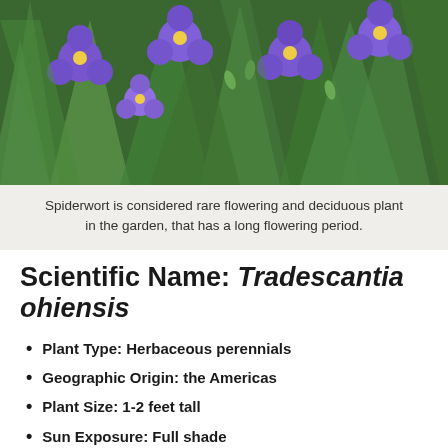[Figure (photo): Close-up photograph of Tradescantia ohiensis (Spiderwort) showing purple/violet three-petaled flowers with yellow stamens among long green strap-like leaves]
Spiderwort is considered rare flowering and deciduous plant in the garden, that has a long flowering period.
Scientific Name: Tradescantia ohiensis
Plant Type: Herbaceous perennials
Geographic Origin: the Americas
Plant Size: 1-2 feet tall
Sun Exposure: Full shade
Plant Zone: 4-9
The spiderwort plant is another shade perennial that has an unattractive name for such a charming little